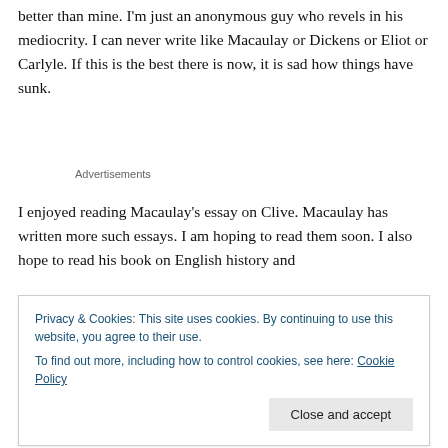better than mine. I'm just an anonymous guy who revels in his mediocrity. I can never write like Macaulay or Dickens or Eliot or Carlyle. If this is the best there is now, it is sad how things have sunk.
Advertisements
I enjoyed reading Macaulay's essay on Clive. Macaulay has written more such essays. I am hoping to read them soon. I also hope to read his book on English history and
Privacy & Cookies: This site uses cookies. By continuing to use this website, you agree to their use.
To find out more, including how to control cookies, see here: Cookie Policy
Have you read this or other essays by Thomas Macaulay?